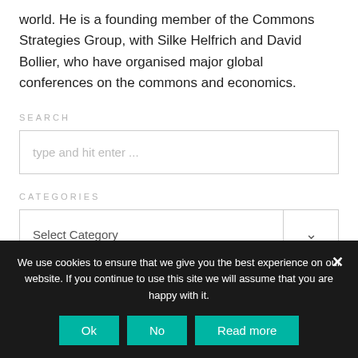world. He is a founding member of the Commons Strategies Group, with Silke Helfrich and David Bollier, who have organised major global conferences on the commons and economics.
SEARCH
type and hit enter ...
CATEGORIES
Select Category
We use cookies to ensure that we give you the best experience on our website. If you continue to use this site we will assume that you are happy with it.